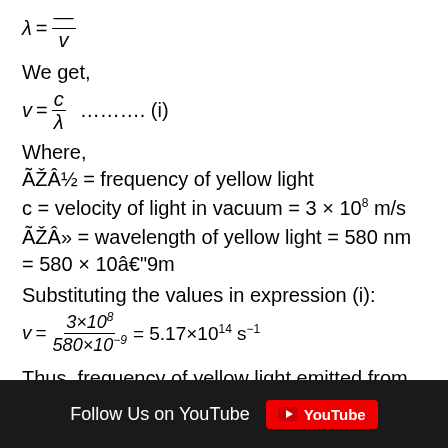We get,
Where,
ÃŽÂ½ = frequency of yellow light
c = velocity of light in vacuum = 3 × 108 m/s
ÃŽÂ» = wavelength of yellow light = 580 nm = 580 × 10â€"9m
Substituting the values in expression (i):
Thus, frequency of yellow light emitted from the sodium lamp
Follow Us on YouTube